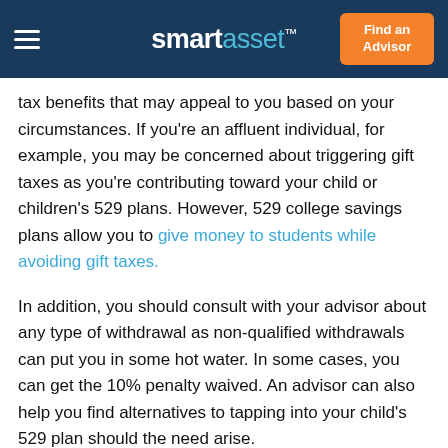smartasset™  Find an Advisor
tax benefits that may appeal to you based on your circumstances. If you're an affluent individual, for example, you may be concerned about triggering gift taxes as you're contributing toward your child or children's 529 plans. However, 529 college savings plans allow you to give money to students while avoiding gift taxes.
In addition, you should consult with your advisor about any type of withdrawal as non-qualified withdrawals can put you in some hot water. In some cases, you can get the 10% penalty waived. An advisor can also help you find alternatives to tapping into your child's 529 plan should the need arise.
What Are My Investment Options?